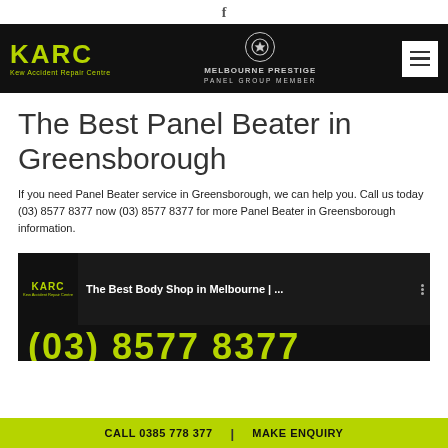f
[Figure (logo): KARC Kew Accident Repair Centre logo in lime green on black background, with Melbourne Prestige Panel Group Member badge in center, and hamburger menu icon on right]
The Best Panel Beater in Greensborough
If you need Panel Beater service in Greensborough, we can help you. Call us today (03) 8577 8377 now (03) 8577 8377 for more Panel Beater in Greensborough information.
[Figure (screenshot): Video thumbnail showing KARC logo, title 'The Best Body Shop in Melbourne | ...' and a phone number (03) 8577 8377 in lime green text on black background]
CALL 0385 778 377 | MAKE ENQUIRY